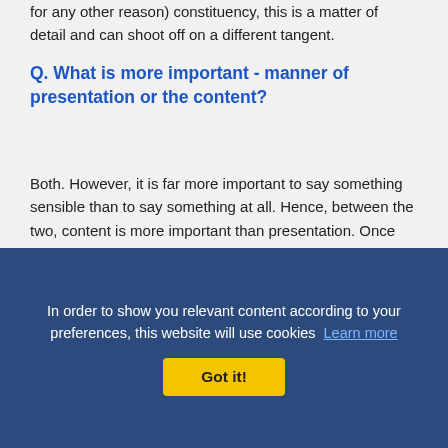for any other reason) constituency, this is a matter of detail and can shoot off on a different tangent.
Q. What is more important - manner of presentation or the content?
Both. However, it is far more important to say something sensible than to say something at all. Hence, between the two, content is more important than presentation. Once content is in place, it helps to present your point in as nice a manner as possible. Presentation has more to do with conciseness and clarity, than with using vocabulary intensive language. It is okay if your method of presentation is "poor" as long as you can get your point of view across effectively without being rude or impolite. Examples of rude impoli...
Even as another person is speaking, jumping into the discussion and starting... such cases, wait for a
In order to show you relevant content according to your preferences, this website will use cookies Learn more
Got it!